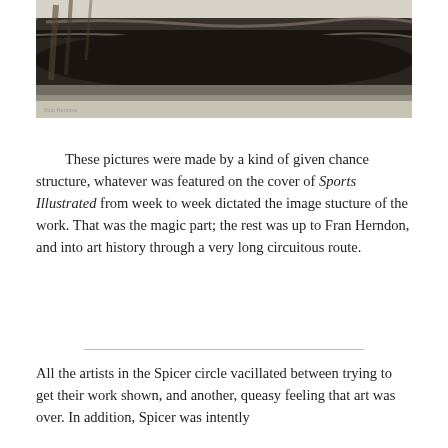[Figure (photo): Black and white photograph or print showing a dark, roughly textured horizontal form — appears to be a log or driftwood — against a lighter background. Monochromatic, high contrast artwork.]
These pictures were made by a kind of given chance structure, whatever was featured on the cover of Sports Illustrated from week to week dictated the image stucture of the work. That was the magic part; the rest was up to Fran Herndon, and into art history through a very long circuitous route.
All the artists in the Spicer circle vacillated between trying to get their work shown, and another, queasy feeling that art was over. In addition, Spicer was intently